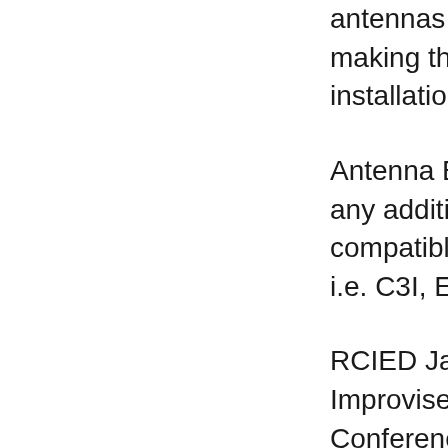antennas are rugged, making these jammers installations like on mas...
Antenna Experts provide any additional adjustments compatible mountings to i.e. C3I, EW, EOD, VIP...
RCIED Jammers Antenna Improvised Explosive Conference Room Jammers Antenna Experts manu Device application covers AMPS, TDMA, UMTS,...
JC and CD series RC where as JD series RC Both jammer collinear vehicle as well as on the RCIED jamming appli...